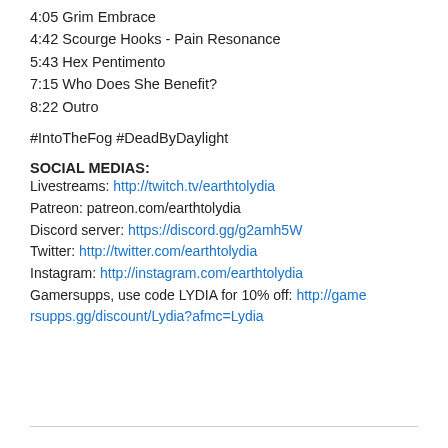4:05 Grim Embrace
4:42 Scourge Hooks - Pain Resonance
5:43 Hex Pentimento
7:15 Who Does She Benefit?
8:22 Outro
#IntoTheFog #DeadByDaylight
SOCIAL MEDIAS:
Livestreams: http://twitch.tv/earthtolydia
Patreon: patreon.com/earthtolydia
Discord server: https://discord.gg/g2amh5W
Twitter: http://twitter.com/earthtolydia
Instagram: http://instagram.com/earthtolydia
Gamersupps, use code LYDIA for 10% off: http://gamersupps.gg/discount/Lydia?afmc=Lydia